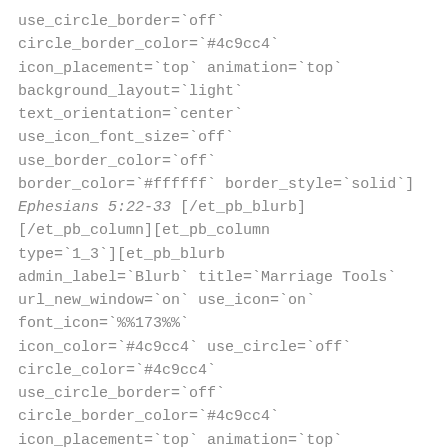use_circle_border="off" circle_border_color="#4c9cc4" icon_placement="top" animation="top" background_layout="light" text_orientation="center" use_icon_font_size="off" use_border_color="off" border_color="#ffffff" border_style="solid"] Ephesians 5:22-33 [/et_pb_blurb] [/et_pb_column][et_pb_column type="1_3"][et_pb_blurb admin_label="Blurb" title="Marriage Tools" url_new_window="on" use_icon="on" font_icon="%%173%%" icon_color="#4c9cc4" use_circle="off" circle_color="#4c9cc4" use_circle_border="off" circle_border_color="#4c9cc4" icon_placement="top" animation="top" background_layout="light" text_orientation="center"